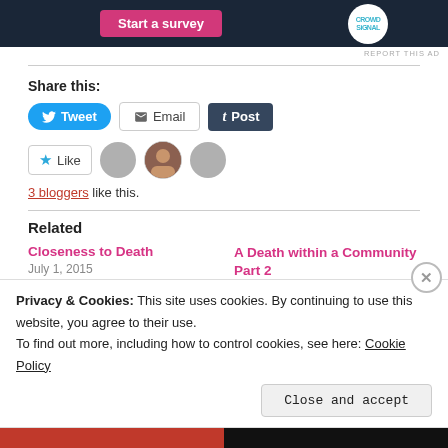[Figure (screenshot): Dark navy ad banner with pink 'Start a survey' button and CrowdSignal logo]
REPORT THIS AD
Share this:
[Figure (screenshot): Share buttons: Tweet (blue), Email (outline), Post (dark navy Tumblr)]
[Figure (screenshot): Like button with star icon and 3 blogger avatars]
3 bloggers like this.
Related
Closeness to Death
July 1, 2015
A Death within a Community Part 2
Privacy & Cookies: This site uses cookies. By continuing to use this website, you agree to their use. To find out more, including how to control cookies, see here: Cookie Policy
Close and accept